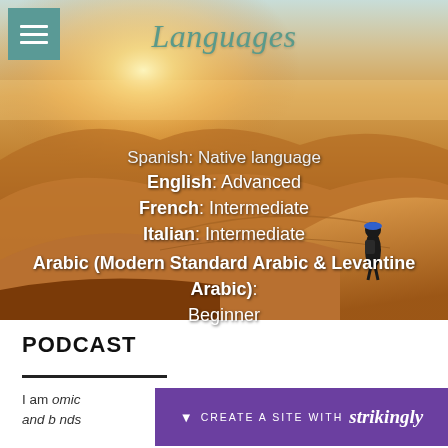[Figure (photo): Desert sand dunes at sunset with a person walking up a dune, wearing a blue hat and backpack. Warm golden/orange tones with a bright horizon.]
Languages
Spanish: Native language
English: Advanced
French: Intermediate
Italian: Intermediate
Arabic (Modern Standard Arabic & Levantine Arabic): Beginner
PODCAST
I am … omic and b… nds
[Figure (logo): Strikingly website builder promotional banner — purple background with 'CREATE A SITE WITH strikingly' text in white]